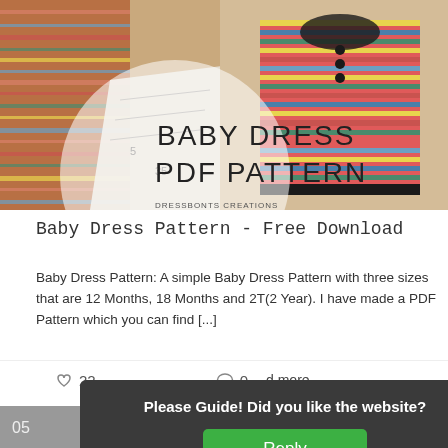[Figure (photo): Baby dress PDF pattern promotional image showing a striped baby dress on the right and sewing pattern pieces on the left, with text overlay 'BABY DRESS PDF PATTERN' and watermark 'DRESSBONTS CREATIONS']
Baby Dress Pattern - Free Download
Baby Dress Pattern: A simple Baby Dress Pattern with three sizes that are 12 Months, 18 Months and 2T(2 Year). I have made a PDF Pattern which you can find [...]
♡ 22   ○ 0   Read more
Please Guide! Did you like the website?
Reply